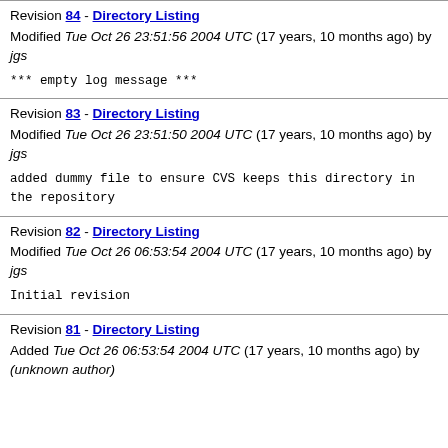Revision 84 - Directory Listing
Modified Tue Oct 26 23:51:56 2004 UTC (17 years, 10 months ago) by jgs
*** empty log message ***
Revision 83 - Directory Listing
Modified Tue Oct 26 23:51:50 2004 UTC (17 years, 10 months ago) by jgs
added dummy file to ensure CVS keeps this directory in the repository
Revision 82 - Directory Listing
Modified Tue Oct 26 06:53:54 2004 UTC (17 years, 10 months ago) by jgs
Initial revision
Revision 81 - Directory Listing
Added Tue Oct 26 06:53:54 2004 UTC (17 years, 10 months ago) by (unknown author)